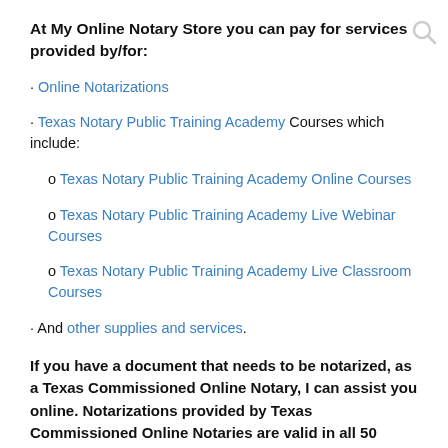At My Online Notary Store you can pay for services provided by/for:
· Online Notarizations
· Texas Notary Public Training Academy Courses which include:
o Texas Notary Public Training Academy Online Courses
o Texas Notary Public Training Academy Live Webinar Courses
o Texas Notary Public Training Academy Live Classroom Courses
· And other supplies and services.
If you have a document that needs to be notarized, as a Texas Commissioned Online Notary, I can assist you online. Notarizations provided by Texas Commissioned Online Notaries are valid in all 50 states.